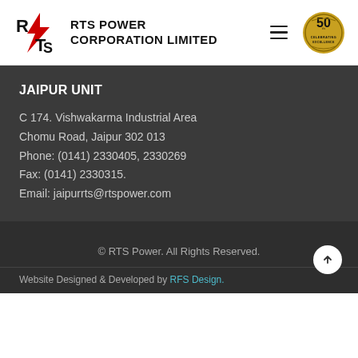[Figure (logo): RTS Power Corporation Limited logo with lightning bolt through letters RTS, and 50th anniversary gold badge]
JAIPUR UNIT
C 174. Vishwakarma Industrial Area
Chomu Road, Jaipur 302 013
Phone: (0141) 2330405, 2330269
Fax: (0141) 2330315.
Email: jaipurrts@rtspower.com
© RTS Power. All Rights Reserved.
Website Designed & Developed by RFS Design.